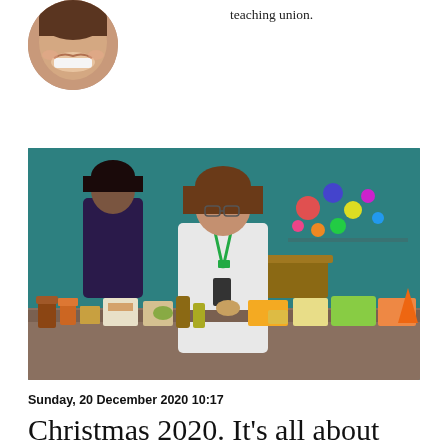[Figure (photo): Circular cropped portrait photo of a smiling person, top portion visible]
teaching union.
[Figure (photo): A woman in a white coat with a green lanyard stands at a table covered with food items (cans, packets, groceries) in a classroom or community hall with a teal/turquoise wall decorated with colourful circular ornaments. Another person in dark clothing stands in the background.]
Sunday, 20 December 2020 10:17
Christmas 2020. It's all about